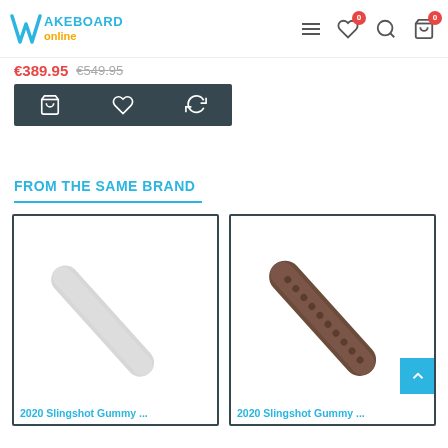Wakeboard Online
€389.95  €549.95
[Figure (screenshot): Dark action bar with shopping bag, heart, and compare icons]
FROM THE SAME BRAND
[Figure (photo): 2020 Slingshot Gummy product image - white/grey strap]
[Figure (photo): 2020 Slingshot Gummy product image - dark brown strap with holes]
2020 Slingshot Gummy ...
2020 Slingshot Gummy ...